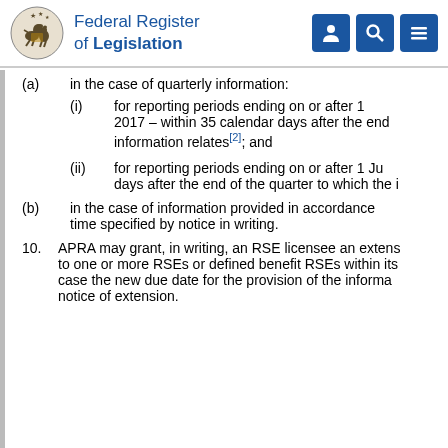Federal Register of Legislation
(a) in the case of quarterly information:
(i) for reporting periods ending on or after 1 2017 – within 35 calendar days after the end information relates[2]; and
(ii) for reporting periods ending on or after 1 Ju days after the end of the quarter to which the i
(b) in the case of information provided in accordance time specified by notice in writing.
10. APRA may grant, in writing, an RSE licensee an extens to one or more RSEs or defined benefit RSEs within its case the new due date for the provision of the informa notice of extension.